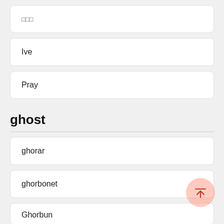□□□
Ive
Pray
ghost
ghorar
ghorbonet
Ghorbun